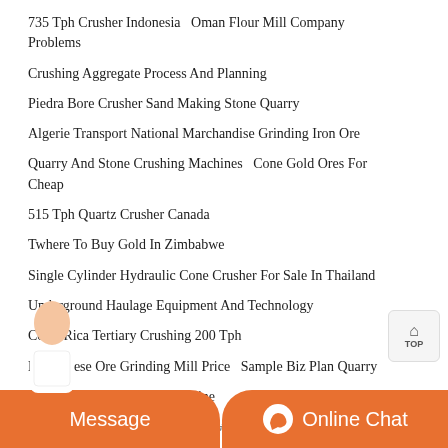735 Tph Crusher Indonesia   Oman Flour Mill Company Problems
Crushing Aggregate Process And Planning
Piedra Bore Crusher Sand Making Stone Quarry
Algerie Transport National Marchandise Grinding Iron Ore
Quarry And Stone Crushing Machines   Cone Gold Ores For Cheap
515 Tph Quartz Crusher Canada
Twhere To Buy Gold In Zimbabwe
Single Cylinder Hydraulic Cone Crusher For Sale In Thailand
Underground Haulage Equipment And Technology
Costa Rica Tertiary Crushing 200 Tph
Manganese Ore Grinding Mill Price   Sample Biz Plan Quarry
Eyeglass Lens Grinding Machine
General Safety Instruction For Jaw Crushing Equipment
Barbados 750 Tph Jaw Crusher